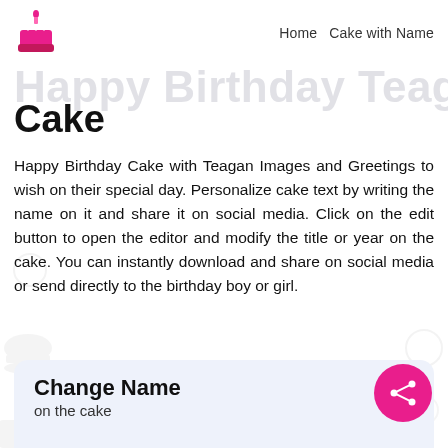Home  Cake with Name
Happy Birthday Teagan Cake
Happy Birthday Cake with Teagan Images and Greetings to wish on their special day. Personalize cake text by writing the name on it and share it on social media. Click on the edit button to open the editor and modify the title or year on the cake. You can instantly download and share on social media or send directly to the birthday boy or girl.
Change Name
on the cake